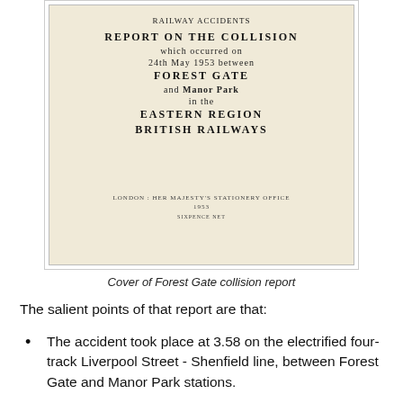[Figure (photo): Scanned cover page of a British Railways accident report titled 'REPORT ON THE COLLISION which occurred on 24th May 1953 between FOREST GATE and MANOR PARK in the EASTERN REGION BRITISH RAILWAYS', published by Her Majesty's Stationery Office, London. The document is yellowed with age.]
Cover of Forest Gate collision report
The salient points of that report are that:
The accident took place at 3.58 on the electrified four-track Liverpool Street - Shenfield line, between Forest Gate and Manor Park stations.
An "Up" freight train was travelling slowly over the